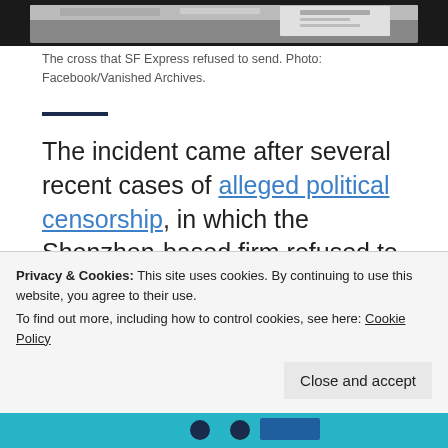[Figure (photo): Top of a photo showing documents/papers, partially cropped, dark background]
The cross that SF Express refused to send. Photo: Facebook/Vanished Archives.
The incident came after several recent cases of alleged political censorship, in which the Shenzhen-based firm refused to accept delivery requests of books with political content.
[Figure (logo): HKER logo on teal/cyan background banner]
Privacy & Cookies: This site uses cookies. By continuing to use this website, you agree to their use.
To find out more, including how to control cookies, see here: Cookie Policy
Close and accept